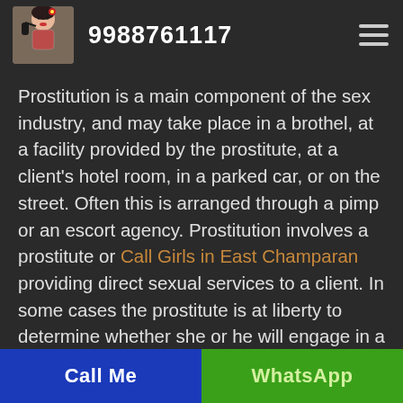9988761117
Prostitution is a main component of the sex industry, and may take place in a brothel, at a facility provided by the prostitute, at a client's hotel room, in a parked car, or on the street. Often this is arranged through a pimp or an escort agency. Prostitution involves a prostitute or Call Girls in East Champaran providing direct sexual services to a client. In some cases the prostitute is at liberty to determine whether she or he will engage in a particular type of sexual activity, but
Call Me | WhatsApp